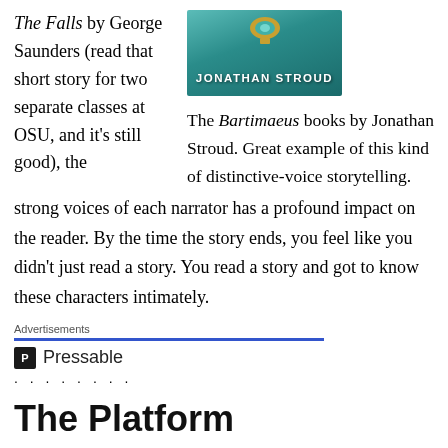The Falls by George Saunders (read that short story for two separate classes at OSU, and it’s still good), the strong voices of each narrator has a profound impact on the reader. By the time the story ends, you feel like you didn’t just read a story. You read a story and got to know these characters intimately.
[Figure (photo): Book cover showing Jonathan Stroud's name on a teal/turquoise background with a gold decorative gem/medallion at top]
The Bartimaeus books by Jonathan Stroud. Great example of this kind of distinctive-voice storytelling.
Advertisements
[Figure (logo): Pressable logo with a dark square icon containing the letter P and the word Pressable next to it, followed by a row of dots]
The Platform